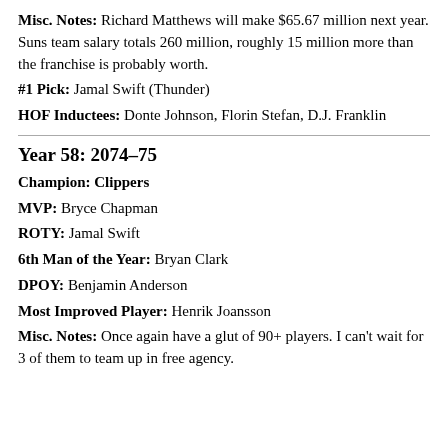Misc. Notes: Richard Matthews will make $65.67 million next year. Suns team salary totals 260 million, roughly 15 million more than the franchise is probably worth.
#1 Pick: Jamal Swift (Thunder)
HOF Inductees: Donte Johnson, Florin Stefan, D.J. Franklin
Year 58: 2074–75
Champion: Clippers
MVP: Bryce Chapman
ROTY: Jamal Swift
6th Man of the Year: Bryan Clark
DPOY: Benjamin Anderson
Most Improved Player: Henrik Joansson
Misc. Notes: Once again have a glut of 90+ players. I can't wait for 3 of them to team up in free agency.